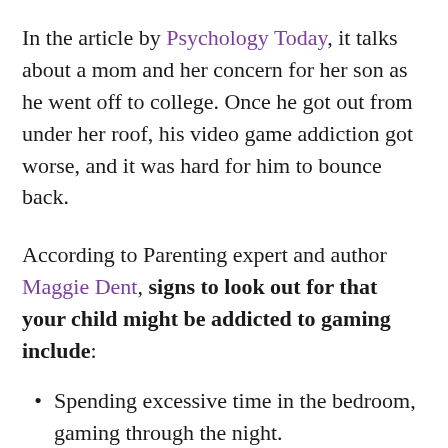In the article by Psychology Today, it talks about a mom and her concern for her son as he went off to college. Once he got out from under her roof, his video game addiction got worse, and it was hard for him to bounce back.
According to Parenting expert and author Maggie Dent, signs to look out for that your child might be addicted to gaming include:
Spending excessive time in the bedroom, gaming through the night.
Too tired to go to school — school work